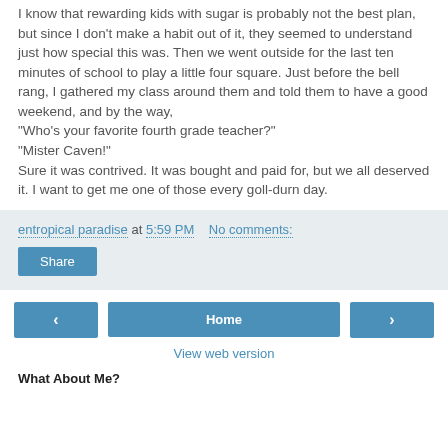I know that rewarding kids with sugar is probably not the best plan, but since I don't make a habit out of it, they seemed to understand just how special this was. Then we went outside for the last ten minutes of school to play a little four square. Just before the bell rang, I gathered my class around them and told them to have a good weekend, and by the way, "Who's your favorite fourth grade teacher?" "Mister Caven!" Sure it was contrived. It was bought and paid for, but we all deserved it. I want to get me one of those every goll-durn day.
entropical paradise at 5:59 PM   No comments:
Share
‹  Home  ›
View web version
What About Me?